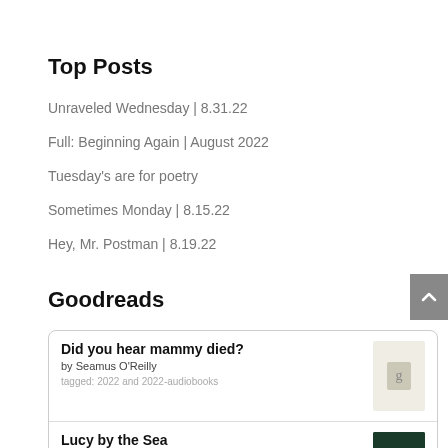Top Posts
Unraveled Wednesday | 8.31.22
Full: Beginning Again | August 2022
Tuesday's are for poetry
Sometimes Monday | 8.15.22
Hey, Mr. Postman | 8.19.22
Goodreads
Did you hear mammy died?
by Seamus O'Reilly
tagged: 2022 and 2022-audiobooks
Lucy by the Sea
by Elizabeth Strout